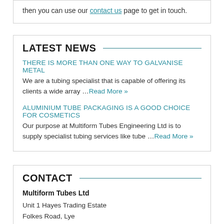then you can use our contact us page to get in touch.
LATEST NEWS
THERE IS MORE THAN ONE WAY TO GALVANISE METAL
We are a tubing specialist that is capable of offering its clients a wide array …Read More »
ALUMINIUM TUBE PACKAGING IS A GOOD CHOICE FOR COSMETICS
Our purpose at Multiform Tubes Engineering Ltd is to supply specialist tubing services like tube …Read More »
CONTACT
Multiform Tubes Ltd
Unit 1 Hayes Trading Estate
Folkes Road, Lye